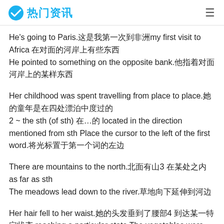热门资讯
He's going to Paris.这是我第一次到非洲my first visit to Africa 在对面的河岸上有些东西 He pointed to something on the opposite bank.他指着对面河岸上的某样东西
Her childhood was spent travelling from place to place.她的童年是在四处漂泊中度过的 2 ~ the sth (of sth) 在…的 located in the direction mentioned from sth Place the cursor to the left of the first word.将光标置于第一个词的左边
There are mountains to the north.北面有山3 在某处之内 as far as sth The meadows lead down to the river.草地向下延伸到河边
Her hair fell to her waist.她的头发垂到了腰部4 到达某一特定状态 reaching a particular state The vegetables were cooked to perfection.蔬菜烹调得恰到好处